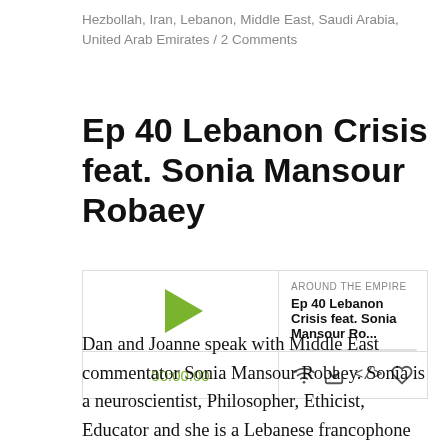Hezbollah, Iran, Lebanon, Middle East, Saudi Arabia, United Arab Emirates / 2 Comments
Ep 40 Lebanon Crisis feat. Sonia Mansour Robaey
[Figure (screenshot): Podcast player widget showing 'Around the Empire' label, episode title 'Ep 40 Lebanon Crisis feat. Sonia Mansour Ro...', a progress bar, play button, timestamp 00:00:00, and control icons for cast, download, embed, and share.]
Dan and Joanne speak with Middle East commentator Sonia Mansour Robaey. Sonia is a neuroscientist, Philosopher, Ethicist, Educator and she is a Lebanese francophone living abroad.